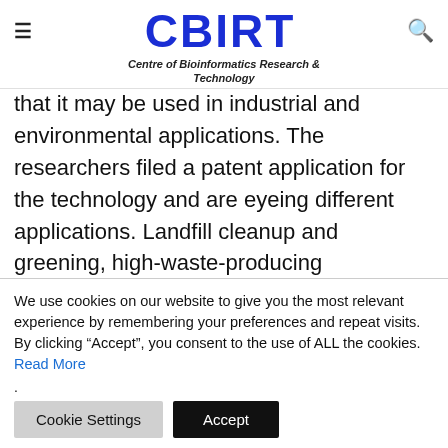CBIRT — Centre of Bioinformatics Research & Technology
that it may be used in industrial and environmental applications. The researchers filed a patent application for the technology and are eyeing different applications. Landfill cleanup and greening, high-waste-producing businesses are the most prominent examples. Another possible key application is environmental cleaning. The team is examining numerous strategies for delivering the enzymes to polluted
We use cookies on our website to give you the most relevant experience by remembering your preferences and repeat visits. By clicking “Accept”, you consent to the use of ALL the cookies. Read More
.
Cookie Settings  Accept